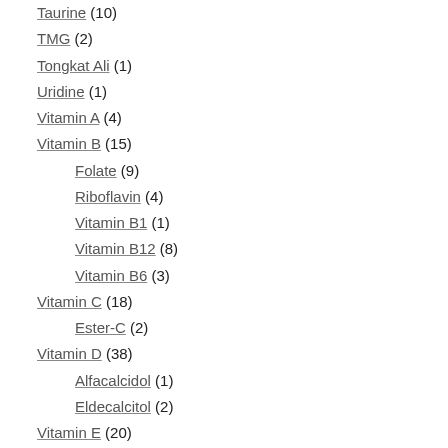Taurine (10)
TMG (2)
Tongkat Ali (1)
Uridine (1)
Vitamin A (4)
Vitamin B (15)
Folate (9)
Riboflavin (4)
Vitamin B1 (1)
Vitamin B12 (8)
Vitamin B6 (3)
Vitamin C (18)
Ester-C (2)
Vitamin D (38)
Alfacalcidol (1)
Eldecalcitol (2)
Vitamin E (20)
Tocotrienols (13)
Vitamin K (58)